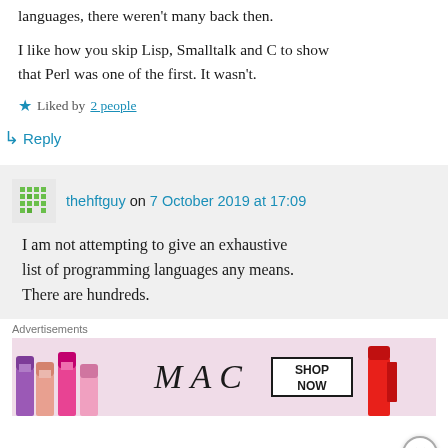languages, there weren't many back then.

I like how you skip Lisp, Smalltalk and C to show that Perl was one of the first. It wasn't.
★ Liked by 2 people
↳ Reply
thehftguy on 7 October 2019 at 17:09
I am not attempting to give an exhaustive list of programming languages any means. There are hundreds.
Advertisements